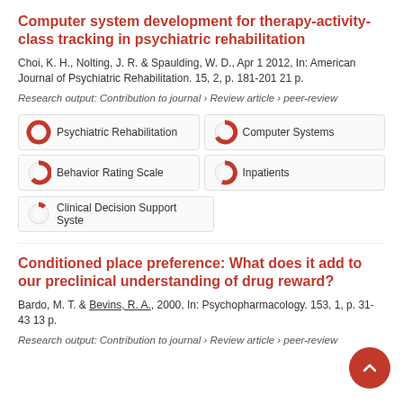Computer system development for therapy-activity-class tracking in psychiatric rehabilitation
Choi, K. H., Nolting, J. R. & Spaulding, W. D., Apr 1 2012, In: American Journal of Psychiatric Rehabilitation. 15, 2, p. 181-201 21 p.
Research output: Contribution to journal › Review article › peer-review
[Figure (infographic): Keyword badges with donut-style fill indicators: Psychiatric Rehabilitation (100%), Computer Systems (~90%), Behavior Rating Scale (~65%), Inpatients (~55%), Clinical Decision Support Syste (~20%)]
Conditioned place preference: What does it add to our preclinical understanding of drug reward?
Bardo, M. T. & Bevins, R. A., 2000, In: Psychopharmacology. 153, 1, p. 31-43 13 p.
Research output: Contribution to journal › Review article › peer-review